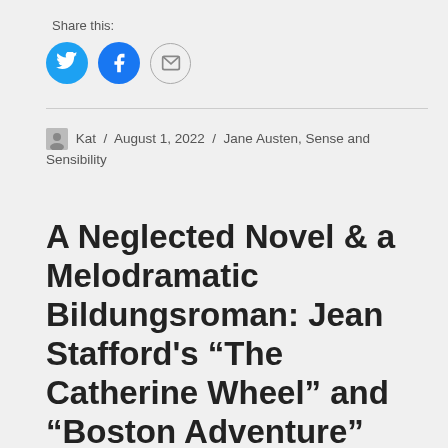Share this:
[Figure (infographic): Three social share buttons: Twitter (blue circle with bird icon), Facebook (blue circle with f icon), Email (grey outlined circle with envelope icon)]
Kat / August 1, 2022 / Jane Austen, Sense and Sensibility
A Neglected Novel & a Melodramatic Bildungsroman: Jean Stafford's “The Catherine Wheel” and “Boston Adventure”